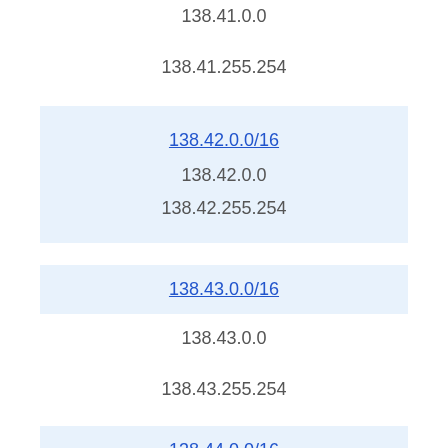138.41.0.0
138.41.255.254
138.42.0.0/16
138.42.0.0
138.42.255.254
138.43.0.0/16
138.43.0.0
138.43.255.254
138.44.0.0/16